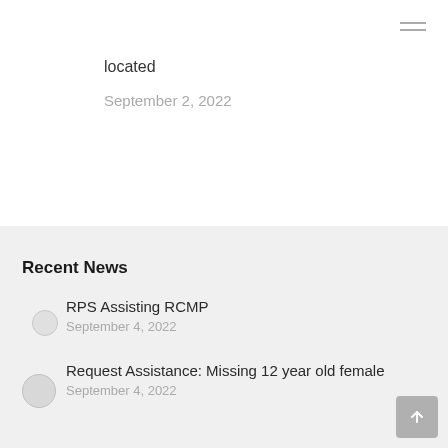located
September 2, 2022
Recent News
RPS Assisting RCMP
September 4, 2022
Request Assistance: Missing 12 year old female
September 4, 2022